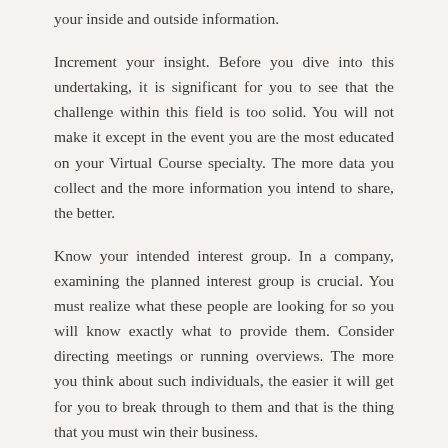your inside and outside information.
Increment your insight. Before you dive into this undertaking, it is significant for you to see that the challenge within this field is too solid. You will not make it except in the event you are the most educated on your Virtual Course specialty. The more data you collect and the more information you intend to share, the better.
Know your intended interest group. In a company, examining the planned interest group is crucial. You must realize what these people are looking for so you will know exactly what to provide them. Consider directing meetings or running overviews. The more you think about such individuals, the easier it will get for you to break through to them and that is the thing that you must win their business.
Know your rivals. Beside knowing your planned interest group, you also have to understand the individuals you are going toward particularly the people that are currently ahead of...